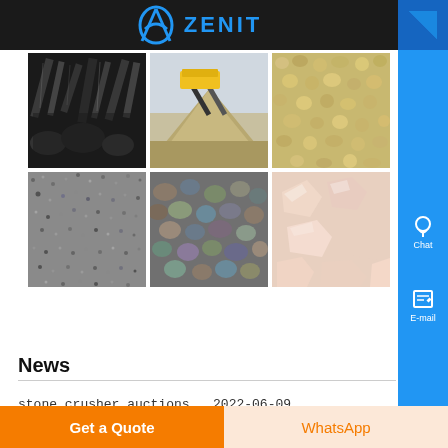[Figure (logo): Zenit company logo with blue arch symbol and ZENIT text on dark background header]
[Figure (photo): Six-image grid showing: dark mineral/coal rocks, stone crusher conveyor with sand pile, coarse gravel/sand, granite surface texture, river pebbles/stones, pink/white crushed stone chunks]
News
stone crusher auctions  2022-06-09